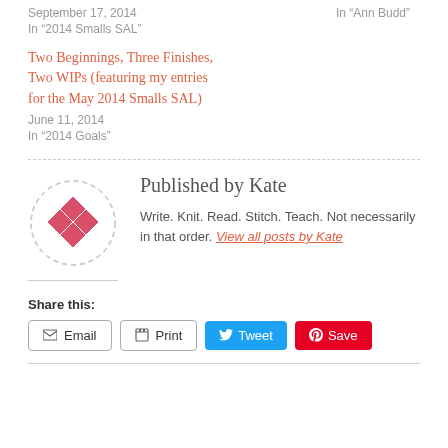September 17, 2014
In “2014 Smalls SAL”
In “Ann Budd”
Two Beginnings, Three Finishes, Two WIPs (featuring my entries for the May 2014 Smalls SAL)
June 11, 2014
In “2014 Goals”
Published by Kate
Write. Knit. Read. Stitch. Teach. Not necessarily in that order. View all posts by Kate
Share this:
Email
Print
Tweet
Save